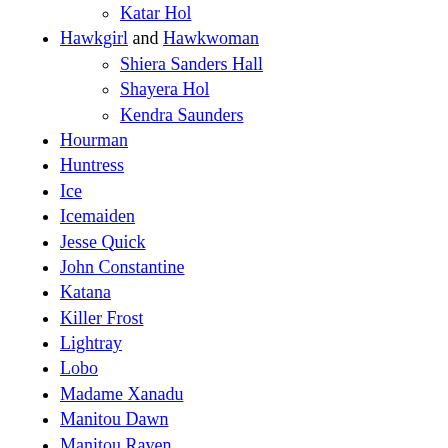Katar Hol (sub-item, circle bullet)
Hawkgirl and Hawkwoman
Shiera Sanders Hall (sub-item, circle bullet)
Shayera Hol (sub-item, circle bullet)
Kendra Saunders (sub-item, circle bullet)
Hourman
Huntress
Ice
Icemaiden
Jesse Quick
John Constantine
Katana
Killer Frost
Lightray
Lobo
Madame Xanadu
Manitou Dawn
Manitou Raven
Maxima
Maya
Mera
Metamorpho
Mister Miracle
Mister Terrific
Moon Maiden